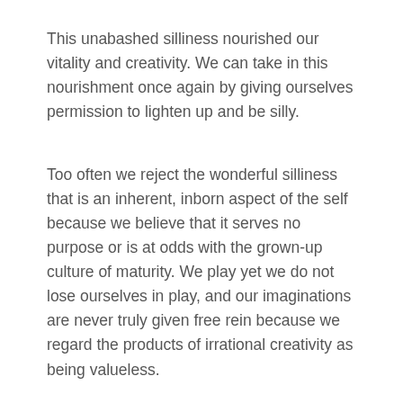This unabashed silliness nourished our vitality and creativity. We can take in this nourishment once again by giving ourselves permission to lighten up and be silly.
Too often we reject the wonderful silliness that is an inherent, inborn aspect of the self because we believe that it serves no purpose or is at odds with the grown-up culture of maturity. We play yet we do not lose ourselves in play, and our imaginations are never truly given free rein because we regard the products of irrational creativity as being valueless.